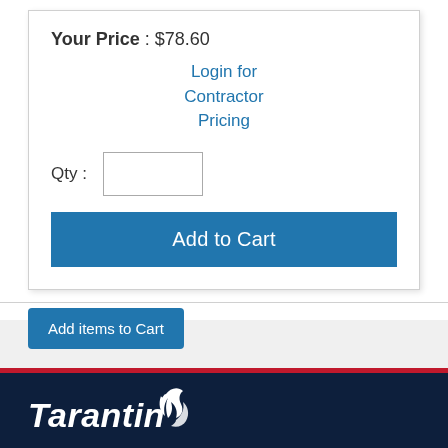Your Price : $78.60
Login for Contractor Pricing
Qty :
Add to Cart
Add items to Cart
[Figure (logo): Tarantin company logo in white italic text on dark navy background with a flame/wing graphic icon]